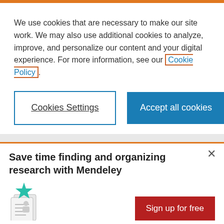We use cookies that are necessary to make our site work. We may also use additional cookies to analyze, improve, and personalize our content and your digital experience. For more information, see our Cookie Policy
Cookies Settings
Accept all cookies
CITATION STYLE
Save time finding and organizing research with Mendeley
Sign up for free